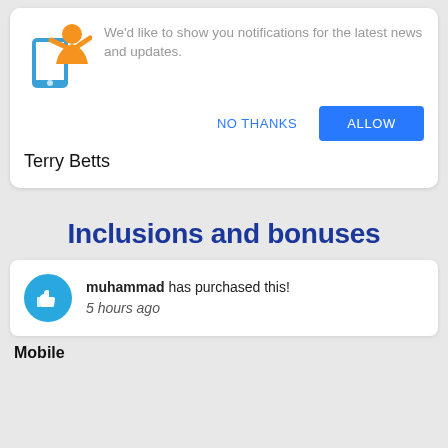[Figure (illustration): Notification prompt card with mobile phone and person icon, 'NO THANKS' and 'ALLOW' buttons]
We'd like to show you notifications for the latest news and updates.
Terry Betts
Inclusions and bonuses
muhammad has purchased this! 5 hours ago
Mobile